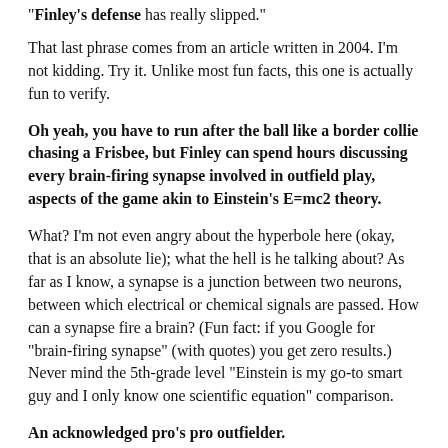"Finley's defense has really slipped."
That last phrase comes from an article written in 2004. I'm not kidding. Try it. Unlike most fun facts, this one is actually fun to verify.
Oh yeah, you have to run after the ball like a border collie chasing a Frisbee, but Finley can spend hours discussing every brain-firing synapse involved in outfield play, aspects of the game akin to Einstein's E=mc2 theory.
What? I'm not even angry about the hyperbole here (okay, that is an absolute lie); what the hell is he talking about? As far as I know, a synapse is a junction between two neurons, between which electrical or chemical signals are passed. How can a synapse fire a brain? (Fun fact: if you Google for "brain-firing synapse" (with quotes) you get zero results.) Never mind the 5th-grade level "Einstein is my go-to smart guy and I only know one scientific equation" comparison.
An acknowledged pro's pro outfielder.